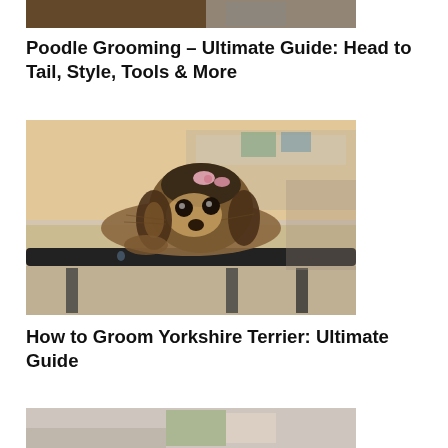[Figure (photo): Partial photo of poodle grooming scene, cropped at top of page]
Poodle Grooming – Ultimate Guide: Head to Tail, Style, Tools & More
[Figure (photo): Yorkshire Terrier with a pink bow lying on a grooming table, grooming salon in background]
How to Groom Yorkshire Terrier: Ultimate Guide
[Figure (photo): Partial photo at bottom of page, appears to be another dog grooming related image]